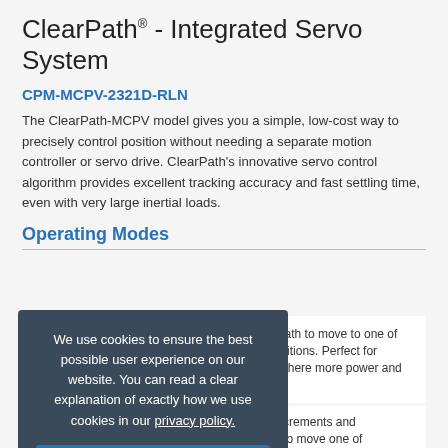ClearPath® - Integrated Servo System
CPM-MCPV-2321D-RLN
The ClearPath-MCPV model gives you a simple, low-cost way to precisely control position without needing a separate motion controller or servo drive. ClearPath's innovative servo control algorithm provides excellent tracking accuracy and fast settling time, even with very large inertial loads.
Operating Modes
Absolute Positioning | Trigger ClearPath to move to one of four preset positions. Perfect for replacing air ... where more power and finesse
... o four move increments and ... ger Clearpath to move one of ... nces from its current location. ... nd multiple quick trigger ... ll ClearPath to move a ... one of the move increments.
We use cookies to ensure the best possible user experience on our website. You can read a clear explanation of exactly how we use cookies in our privacy policy.